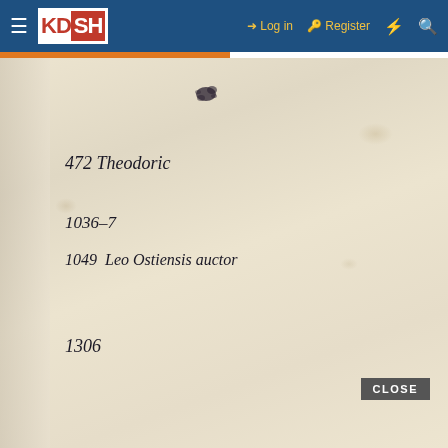KDSH — Log in | Register
[Figure (photo): A scanned aged manuscript/document page with handwritten entries: '472 Theodoric', '1036-7', '1049 Leo Ostiensis auctor', '1306', and rotated text at bottom right reading 'ished on the well' or similar. An ink blot mark appears near the top center. A CLOSE button overlay appears at the bottom right.]